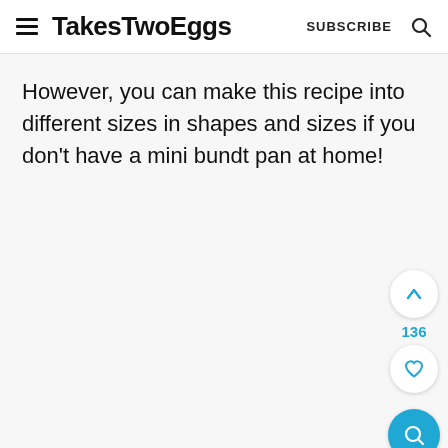TakesTwoEggs  SUBSCRIBE
However, you can make this recipe into different sizes in shapes and sizes if you don't have a mini bundt pan at home!